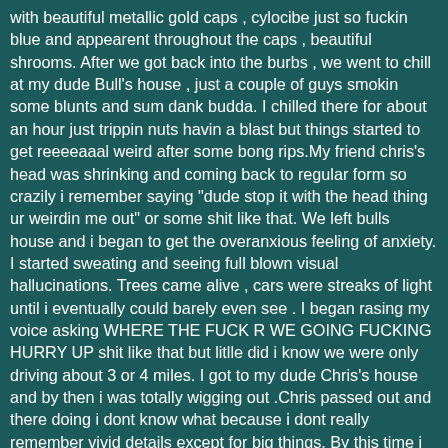with beautiful metallic gold caps , cylocibe just so fuckin blue and appearent throughout the caps , beautiful shrooms. After we got back into the burbs , we went to chill at my dude Bull's house , just a couple of guys smokin some blunts and sum dank budda. I chilled there for about an hour just trippin nuts havin a blast but things started to get reeeeaaal weird after some bong rips.My friend chris's head was shrinking and coming back to regular form so crazily i remember saying "dude stop it with the head thing ur weirdin me out" or some shit like that. We left bulls house and i began to get the overanxious feeling of anxiety. I started sweating and seeing full blown visual hallucinations. Trees came alive , cars were streaks of light until i eventually could barely even see . I began rasing my voice asking WHERE THE FUCK R WE GOING FUCKING HURRY UP shit like that but litlle did i know we were only driving about 3 or 4 miles. I got to my dude Chris's house and by then i was totally wigging out .Chris passed out and there doing i dont know what because i dont really remember vivid details except for big things. By this time i didnt even know i was on acid or shrooms , i didnt know i was tripping , i didnt even understand the concept of humankind. I began seeing numerical patterns of green numbers all over every object in the basement, leading me to come up with the theory that humans were sent to live to compleate a universal task that must be achieved by